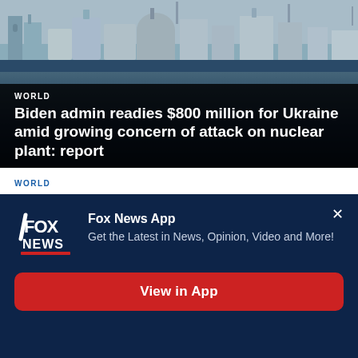[Figure (photo): Aerial view of a nuclear power plant (Zaporizhzhia) with cooling towers and reactor domes visible against a grey sky, with dark water in the foreground]
WORLD
Biden admin readies $800 million for Ukraine amid growing concern of attack on nuclear plant: report
WORLD
Japan encourages young people to drink more alcohol
WORLD
[Figure (screenshot): Fox News App promotional popup banner with logo, description text and View in App button]
Fox News App
Get the Latest in News, Opinion, Video and More!
View in App